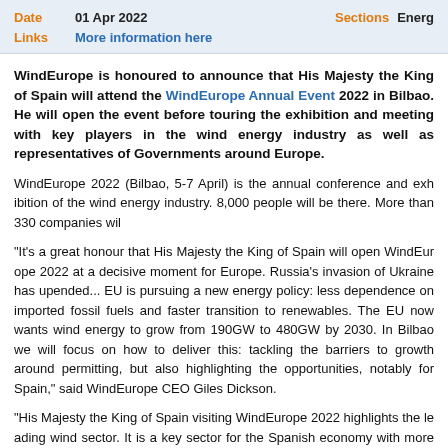Date: 01 Apr 2022 | Sections: Energ... | Links: More information here
WindEurope is honoured to announce that His Majesty the King of Spain will attend the WindEurope Annual Event 2022 in Bilbao. He will open the event before touring the exhibition and meeting with key players in the wind energy industry as well as representatives of Governments around Europe.
WindEurope 2022 (Bilbao, 5-7 April) is the annual conference and exhibition of the wind energy industry. 8,000 people will be there. More than 330 companies wil...
“It’s a great honour that His Majesty the King of Spain will open WindEurope 2022 at a decisive moment for Europe. Russia’s invasion of Ukraine has upended things. The EU is pursuing a new energy policy: less dependence on imported fossil fuels and faster transition to renewables. The EU now wants wind energy to grow from 190GW to 480GW by 2030. In Bilbao we will focus on how to deliver this: tackling the barriers to growth around permitting, but also highlighting the opportunities, notably for Spain,” said WindEurope CEO Giles Dickson.
“His Majesty the King of Spain visiting WindEurope 2022 highlights the leading wind sector. It is a key sector for the Spanish economy with more than 25... quality jobs for 30,000 professionals. There are 1,298 wind farms in 47 S...